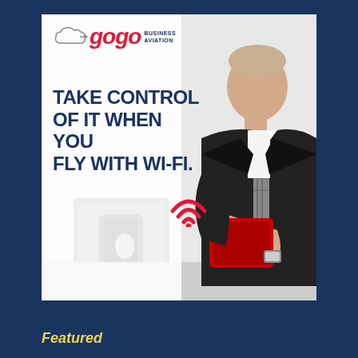[Figure (photo): Gogo Business Aviation advertisement featuring a businessman in a dark suit holding a red tablet device, standing in front of a private jet. The ad includes the Gogo Business Aviation logo with a cloud icon, the headline 'TAKE CONTROL OF IT WHEN YOU FLY WITH WI-FI.' and a red Wi-Fi symbol icon.]
Featured